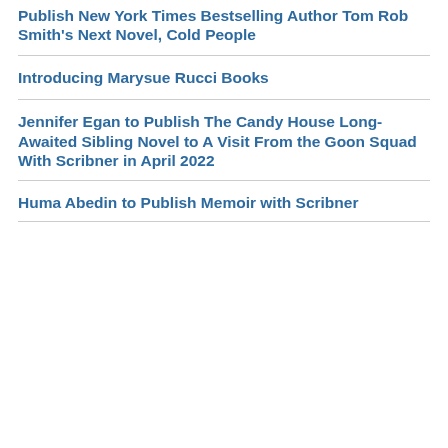Publish New York Times Bestselling Author Tom Rob Smith's Next Novel, Cold People
Introducing Marysue Rucci Books
Jennifer Egan to Publish The Candy House Long-Awaited Sibling Novel to A Visit From the Goon Squad With Scribner in April 2022
Huma Abedin to Publish Memoir with Scribner